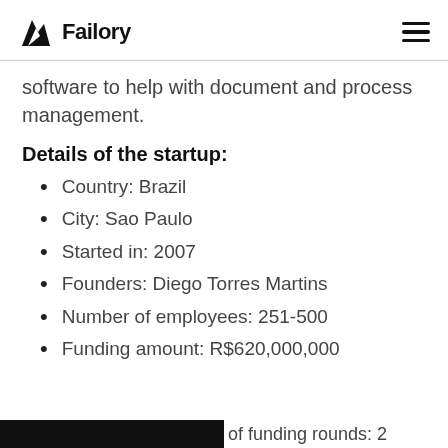Failory
software to help with document and process management.
Details of the startup:
Country: Brazil
City: Sao Paulo
Started in: 2007
Founders: Diego Torres Martins
Number of employees: 251-500
Funding amount: R$620,000,000
of funding rounds: 2